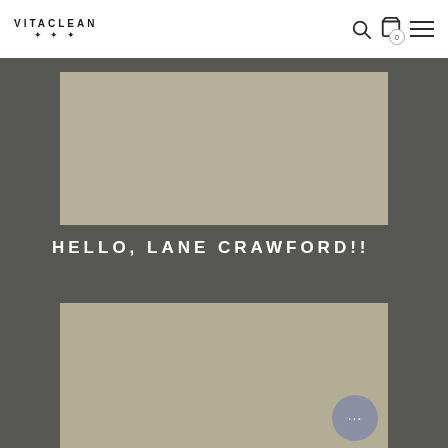VITACLEAN
[Figure (photo): Tan/beige colored product image placeholder at top of dark background]
HELLO, LANE CRAWFORD!!
[Figure (photo): Tan/olive colored product image placeholder at bottom of dark background]